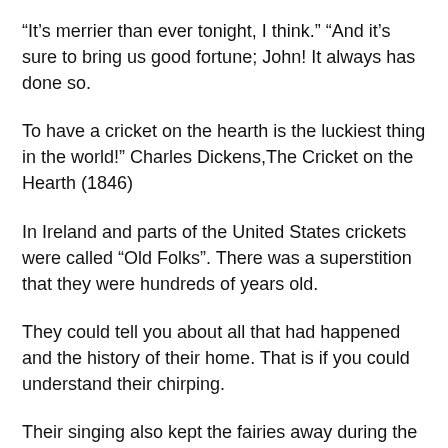“It’s merrier than ever tonight, I think.” “And it’s sure to bring us good fortune; John! It always has done so.
To have a cricket on the hearth is the luckiest thing in the world!” Charles Dickens,The Cricket on the Hearth (1846)
In Ireland and parts of the United States crickets were called “Old Folks”. There was a superstition that they were hundreds of years old.
They could tell you about all that had happened and the history of their home. That is if you could understand their chirping.
Their singing also kept the fairies away during the night. It was considered a soothing sound and all could sleep safely.